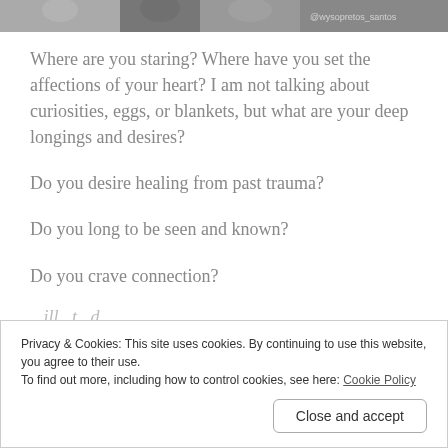[Figure (photo): Partial black and white photo strip at the top of the page, showing people, with a watermark '@wysopretos_santos' visible on the right side.]
Where are you staring? Where have you set the affections of your heart? I am not talking about curiosities, eggs, or blankets, but what are your deep longings and desires?
Do you desire healing from past trauma?
Do you long to be seen and known?
Do you crave connection?
...
Privacy & Cookies: This site uses cookies. By continuing to use this website, you agree to their use.
To find out more, including how to control cookies, see here: Cookie Policy
Close and accept